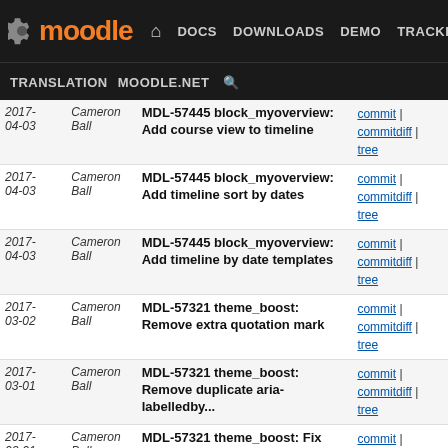Moodle | DOCS | DOWNLOADS | DEMO | TRACKER | DEV | TRANSLATION | MOODLE.NET
| Date | Author | Message | Links |
| --- | --- | --- | --- |
| 2017-04-03 | Cameron Ball | MDL-57445 block_myoverview: Add course view to timeline | commit | commitdiff | tree |
| 2017-04-03 | Cameron Ball | MDL-57445 block_myoverview: Add timeline sort by dates | commit | commitdiff | tree |
| 2017-04-03 | Cameron Ball | MDL-57445 block_myoverview: Add timeline by date templates | commit | commitdiff | tree |
| 2017-03-02 | Cameron Ball | MDL-57321 theme_boost: Remove extra quotation mark | commit | commitdiff | tree |
| 2017-03-01 | Cameron Ball | MDL-57321 theme_boost: Remove duplicate aria-labelledby... | commit | commitdiff | tree |
| 2017-03-01 | Cameron Ball | MDL-57321 theme_boost: Fix improperly nested ul elements... | commit | commitdiff | tree |
| 2017-03-01 | Cameron Ball | MDL-57321 theme_boost: Use div instead of span for... | commit | commitdiff | tree |
| 2017-03-01 | Cameron Ball | MDL-57321 theme_boost: Consistently apply attributes... | commit | commitdiff | tree |
| 2016-11-30 | Cameron Ball | MDL-57207 mod_lti: Remove redundant popover() call | commit | commitdiff | tree |
| 2016-11-29 | Cameron Ball | MDL-57177 theme_boost: Use regular ! for advanced form... | commit | commitdiff | tree |